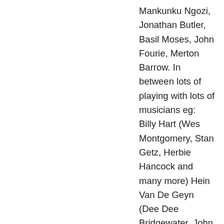Mankunku Ngozi, Jonathan Butler, Basil Moses, John Fourie, Merton Barrow. In between lots of playing with lots of musicians eg: Billy Hart (Wes Montgomery, Stan Getz, Herbie Hancock and many more) Hein Van De Geyn (Dee Dee Bridgewater, John Abercrombie, Hein is also head of Challenge Jazz) Natascha Roth, Andrew Lilley, Coleman Mellet (Chuck Mangione), Jeanie Bryson (Terrance Blanchard, Grover Washington), Hotep Idris Galeta (Jackie Mclain), Winston Mankunku Ngozi, John Fourie, Jack Van Poll, Stacey Rowles, Paul Hamner, Gavin Minter, Philip Aertes to name a few.